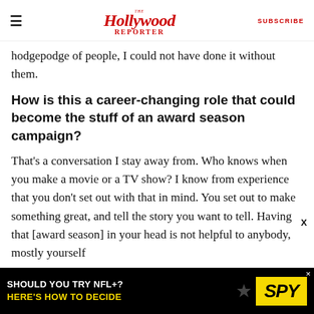The Hollywood Reporter | SUBSCRIBE
hodgepodge of people, I could not have done it without them.
How is this a career-changing role that could become the stuff of an award season campaign?
That's a conversation I stay away from. Who knows when you make a movie or a TV show? I know from experience that you don't set out with that in mind. You set out to make something great, and tell the story you want to tell. Having that [award season] in your head is not helpful to anybody, mostly yourself
[Figure (other): Advertisement banner: 'SHOULD YOU TRY NFL+? HERE'S HOW TO DECIDE' with SPY logo on black background]